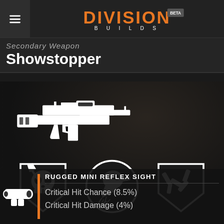DIVISION BUILDS BETA
Secondary Weapon
Showstopper
[Figure (illustration): White silhouette icon of a shotgun/assault rifle weapon on dark background]
[Figure (illustration): Three circular/shield perk icons: skull with axe, raven/bird head, bullet casings]
RUGGED MINI REFLEX SIGHT
Critical Hit Chance  (8.5%)
Critical Hit Damage  (4%)